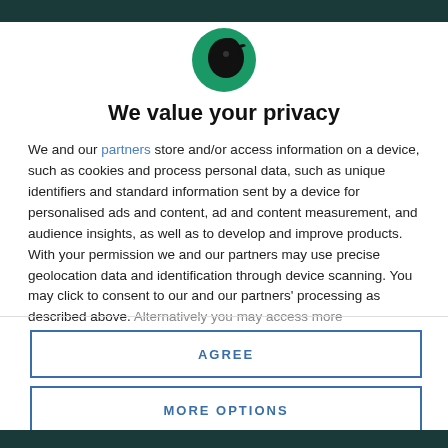[Figure (logo): Circular green logo with black silhouette of a bird/raven facing right]
We value your privacy
We and our partners store and/or access information on a device, such as cookies and process personal data, such as unique identifiers and standard information sent by a device for personalised ads and content, ad and content measurement, and audience insights, as well as to develop and improve products. With your permission we and our partners may use precise geolocation data and identification through device scanning. You may click to consent to our and our partners' processing as described above. Alternatively you may access more
AGREE
MORE OPTIONS